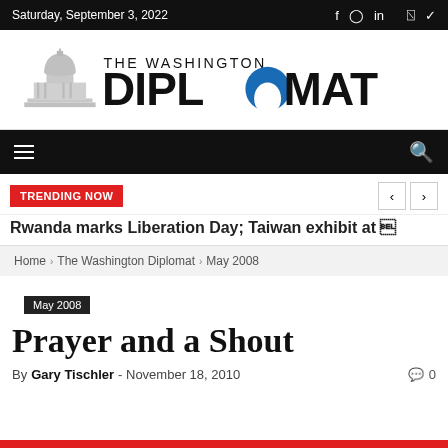Saturday, September 3, 2022
[Figure (logo): The Washington Diplomat logo with US Capitol dome silhouette and blue arch on letter O]
TRENDING NOW  Rwanda marks Liberation Day; Taiwan exhibit at ‹ ›
Home › The Washington Diplomat › May 2008
May 2008
Prayer and a Shout
By Gary Tischler - November 18, 2010  0